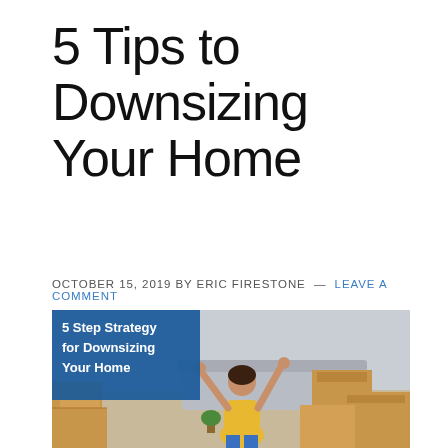5 Tips to Downsizing Your Home
OCTOBER 15, 2019 BY ERIC FIRESTONE — LEAVE A COMMENT
[Figure (photo): Woman in yellow top sitting on floor with arms raised among cardboard moving boxes, with a blue overlay box reading '5 Step Strategy for Downsizing Your Home']